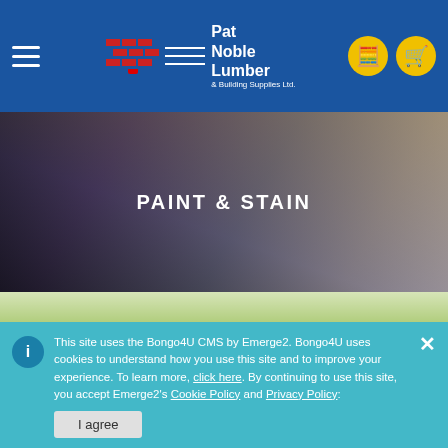Pat Noble Lumber & Building Supplies Ltd.
[Figure (screenshot): Paint & Stain product category banner with dark background and person painting]
PAINT & STAIN
[Figure (photo): Outdoor scene with trees and foliage, used as background for Grills, Hearths, Equipment, Tools & More section]
Grills, Hearths, Equipment, Tools & More
This site uses the Bongo4U CMS by Emerge2. Bongo4U uses cookies to understand how you use this site and to improve your experience. To learn more, click here. By continuing to use this site, you accept Emerge2's Cookie Policy and Privacy Policy:
I agree